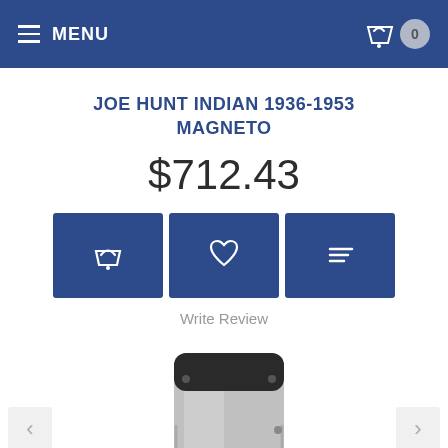MENU  0
JOE HUNT INDIAN 1936-1953 MAGNETO
$712.43
[Figure (illustration): Three dark blue square buttons: shopping basket icon, heart/wishlist icon, and list/compare icon]
Write Review
[Figure (photo): Joe Hunt Indian magneto product photo — silver and black cylindrical magneto unit with a Joe Hunt logo sticker visible on the side. Navigation arrows on left and right sides.]